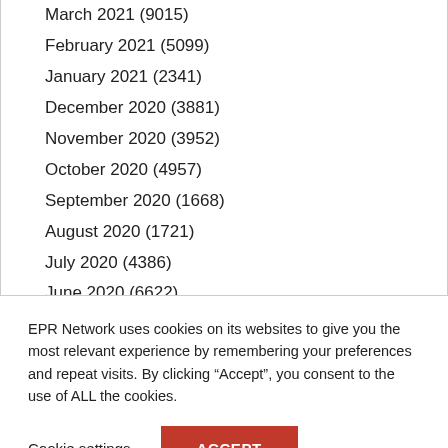March 2021 (9015)
February 2021 (5099)
January 2021 (2341)
December 2020 (3881)
November 2020 (3952)
October 2020 (4957)
September 2020 (1668)
August 2020 (1721)
July 2020 (4386)
June 2020 (6622)
May 2020 (7875)
April 2020 (7932)
March 2020 (4576)
EPR Network uses cookies on its websites to give you the most relevant experience by remembering your preferences and repeat visits. By clicking “Accept”, you consent to the use of ALL the cookies.
Cookie settings  ACCEPT